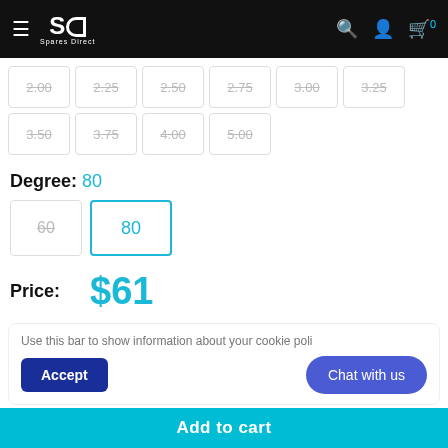Spares Direct
2.00 2.25 2.50 2.75 3.00 3.25 3.50 3.75 4.00 5.00
Degree: 80
60 (unavailable) | 80 (selected)
Price: $61
Use this bar to show information about your cookie policy
Accept
Chat with us
Add to cart